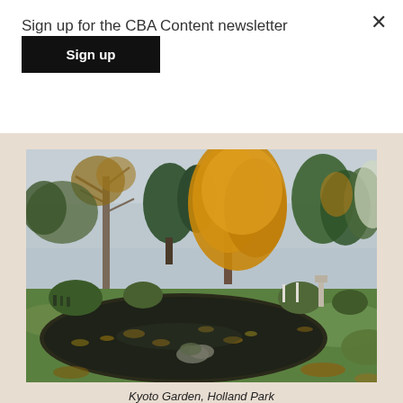Sign up for the CBA Content newsletter
Sign up
[Figure (photo): Autumn scene at Kyoto Garden, Holland Park. A tranquil Japanese-style garden with a pond covered in fallen autumn leaves, surrounded by tall trees with golden and orange foliage, evergreen shrubs, and manicured hedges under a cloudy sky.]
Kyoto Garden, Holland Park